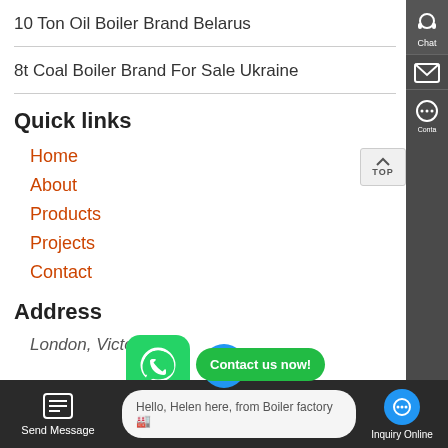10 Ton Oil Boiler Brand Belarus
8t Coal Boiler Brand For Sale Ukraine
Quick links
Home
About
Products
Projects
Contact
Address
London, Victoria
Hello, Helen here, from Boiler factory 🏭
Send Message
Inquiry Online
Contact us now!
Chat
Conta